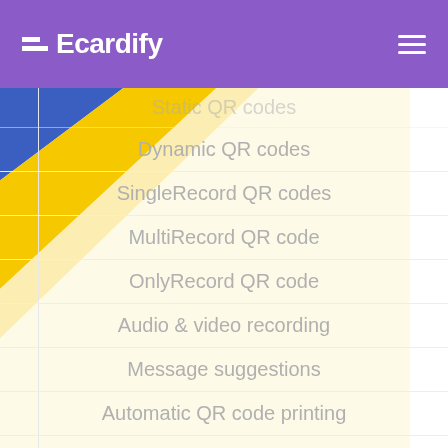Ecardify
Static QR codes
Dynamic QR codes
SingleRecord QR codes
MultiRecord QR code
OnlyRecord QR code
Audio & video recording
Message suggestions
Automatic QR code printing
Automatic Card printing
Internationalization
Webhooks
24/7 email support